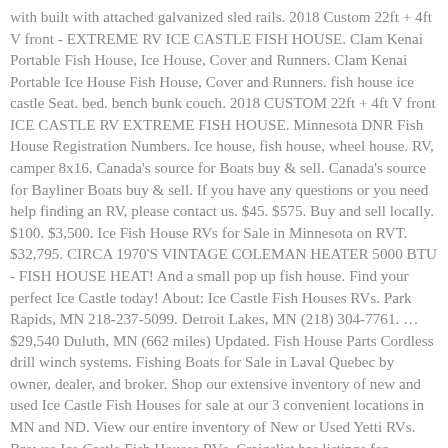with built with attached galvanized sled rails. 2018 Custom 22ft + 4ft V front - EXTREME RV ICE CASTLE FISH HOUSE. Clam Kenai Portable Fish House, Ice House, Cover and Runners. Clam Kenai Portable Ice House Fish House, Cover and Runners. fish house ice castle Seat. bed. bench bunk couch. 2018 CUSTOM 22ft + 4ft V front ICE CASTLE RV EXTREME FISH HOUSE. Minnesota DNR Fish House Registration Numbers. Ice house, fish house, wheel house. RV, camper 8x16. Canada's source for Boats buy & sell. Canada's source for Bayliner Boats buy & sell. If you have any questions or you need help finding an RV, please contact us. $45. $575. Buy and sell locally. $100. $3,500. Ice Fish House RVs for Sale in Minnesota on RVT. $32,795. CIRCA 1970'S VINTAGE COLEMAN HEATER 5000 BTU - FISH HOUSE HEAT! And a small pop up fish house. Find your perfect Ice Castle today! About: Ice Castle Fish Houses RVs. Park Rapids, MN 218-237-5099. Detroit Lakes, MN (218) 304-7761. … $29,540 Duluth, MN (662 miles) Updated. Fish House Parts Cordless drill winch systems. Fishing Boats for Sale in Laval Quebec by owner, dealer, and broker. Shop our extensive inventory of new and used Ice Castle Fish Houses for sale at our 3 convenient locations in MN and ND. View our entire inventory of New or Used Yetti RVs. Browse Ice Castle Fish Houses RVs. Craigslist has listings for sporting goods – by owner in the Mankato, MN area. Hudson cranes and functions of Ice Castle Fish Houses...